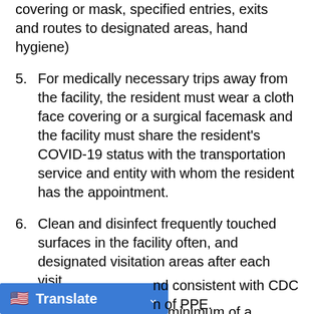covering or mask, specified entries, exits and routes to designated areas, hand hygiene)
5.    For medically necessary trips away from the facility, the resident must wear a cloth face covering or a surgical facemask and the facility must share the resident's COVID-19 status with the transportation service and entity with whom the resident has the appointment.
6.    Clean and disinfect frequently touched surfaces in the facility often, and designated visitation areas after each visit.
7.    All staff must wear a minimum of a surgical mask and face shield when they are interacting with residents. Additional PPE should be used according to the COVID-19 status of the resident and to the ...nd consistent with CDC ...n of PPE.